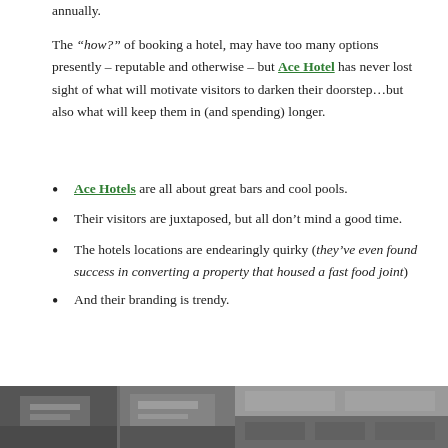annually.
The “how?” of booking a hotel, may have too many options presently – reputable and otherwise – but Ace Hotel has never lost sight of what will motivate visitors to darken their doorstep…but also what will keep them in (and spending) longer.
Ace Hotels are all about great bars and cool pools.
Their visitors are juxtaposed, but all don’t mind a good time.
The hotels locations are endearingly quirky (they’ve even found success in converting a property that housed a fast food joint)
And their branding is trendy.
[Figure (photo): Two side-by-side hotel interior/exterior photos at the bottom of the page]